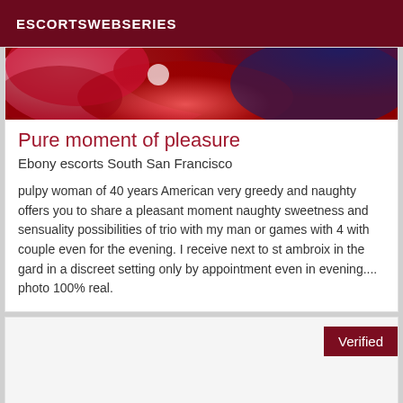ESCORTSWEBSERIES
[Figure (photo): Close-up photo of red and blue flowers/fabric]
Pure moment of pleasure
Ebony escorts South San Francisco
pulpy woman of 40 years American very greedy and naughty offers you to share a pleasant moment naughty sweetness and sensuality possibilities of trio with my man or games with 4 with couple even for the evening. I receive next to st ambroix in the gard in a discreet setting only by appointment even in evening.... photo 100% real.
[Figure (photo): Second listing card with Verified badge]